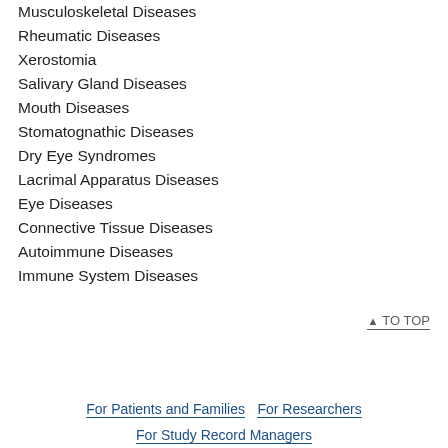Musculoskeletal Diseases
Rheumatic Diseases
Xerostomia
Salivary Gland Diseases
Mouth Diseases
Stomatognathic Diseases
Dry Eye Syndromes
Lacrimal Apparatus Diseases
Eye Diseases
Connective Tissue Diseases
Autoimmune Diseases
Immune System Diseases
↑ TO TOP
For Patients and Families | For Researchers | For Study Record Managers